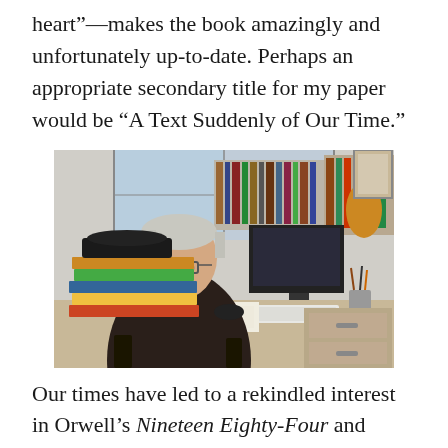heart”—makes the book amazingly and unfortunately up-to-date. Perhaps an appropriate secondary title for my paper would be “A Text Suddenly of Our Time.”
[Figure (photo): An older man with white hair and glasses, wearing a dark turtleneck sweater, sits at a cluttered desk with stacks of books, papers, and a computer monitor in what appears to be an office or study.]
Our times have led to a rekindled interest in Orwell’s Nineteen Eighty-Four and other dystopian books. For the same reasons it is worthwhile to descend into William